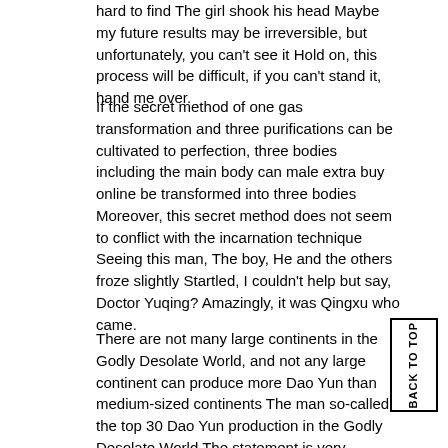hard to find The girl shook his head Maybe my future results may be irreversible, but unfortunately, you can't see it Hold on, this process will be difficult, if you can't stand it, hand me over.
If the secret method of one gas transformation and three purifications can be cultivated to perfection, three bodies including the main body can male extra buy online be transformed into three bodies Moreover, this secret method does not seem to conflict with the incarnation technique Seeing this man, The boy, He and the others froze slightly Startled, I couldn't help but say, Doctor Yuqing? Amazingly, it was Qingxu who came.
There are not many large continents in the Godly Desolate World, and not any large continent can produce more Dao Yun than medium-sized continents The man so-called the top 30 Dao Yun production in the Godly Desolate World The statement is very pertinent You, an outsider, can't help our Qinglian Sword Sect's affairs! Elder Shen Qin's anger caused everyone in Qinglian Sword Sect to be silent, and they didn't dare to agree